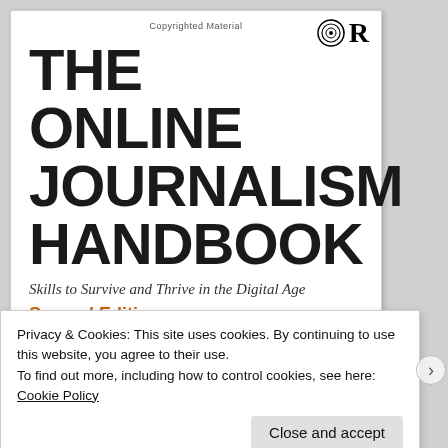Copyrighted Material
[Figure (logo): Routledge publisher logo: spiral circle icon and bold R]
THE ONLINE JOURNALISM HANDBOOK
Skills to Survive and Thrive in the Digital Age
Second Edition
Privacy & Cookies: This site uses cookies. By continuing to use this website, you agree to their use.
To find out more, including how to control cookies, see here: Cookie Policy